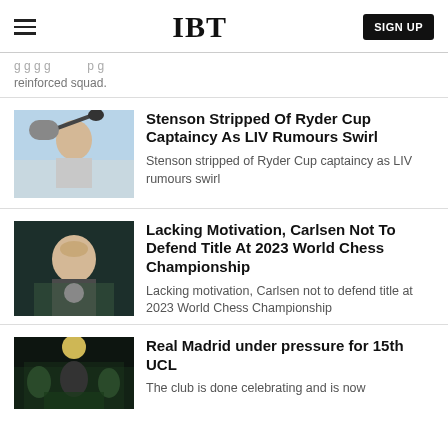IBT
reinforced squad.
Stenson Stripped Of Ryder Cup Captaincy As LIV Rumours Swirl
Stenson stripped of Ryder Cup captaincy as LIV rumours swirl
Lacking Motivation, Carlsen Not To Defend Title At 2023 World Chess Championship
Lacking motivation, Carlsen not to defend title at 2023 World Chess Championship
Real Madrid under pressure for 15th UCL
The club is done celebrating and is now